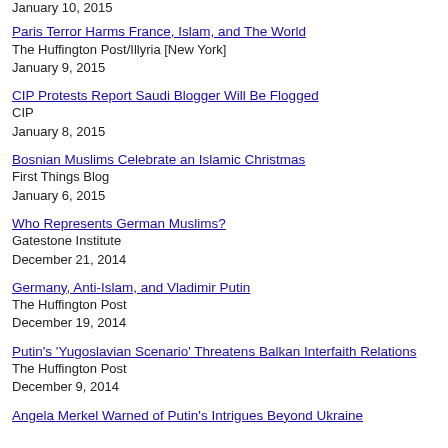January 10, 2015
Paris Terror Harms France, Islam, and The World
The Huffington Post/Illyria [New York]
January 9, 2015
CIP Protests Report Saudi Blogger Will Be Flogged
CIP
January 8, 2015
Bosnian Muslims Celebrate an Islamic Christmas
First Things Blog
January 6, 2015
Who Represents German Muslims?
Gatestone Institute
December 21, 2014
Germany, Anti-Islam, and Vladimir Putin
The Huffington Post
December 19, 2014
Putin's 'Yugoslavian Scenario' Threatens Balkan Interfaith Relations
The Huffington Post
December 9, 2014
Angela Merkel Warned of Putin's Intrigues Beyond Ukraine